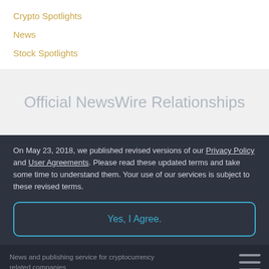Crypto Spotlights
News
Stock Spotlights
Official NewsWire Relationships
On May 23, 2018, we published revised versions of our Privacy Policy and User Agreements. Please read these updated terms and take some time to understand them. Your use of our services is subject to these revised terms.
Yes, I Agree.
News and publishing service for cryptocurrency related companies